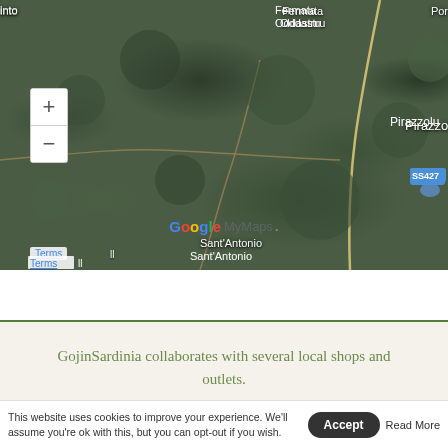[Figure (map): Google MyMaps satellite view showing Sardinia region with place names: into, Fermata Oddastru, San Pantaleo, Por (partially visible), Pirazzolu, SS427 road badge, SS125 road badge, Casagliana, Sant'Antonio. Zoom controls (+/-) visible on left. Google MyMaps logo and Terms link at bottom.]
GojinSardinia collaborates with several local shops and outlets.
This website uses cookies to improve your experience. We'll assume you're ok with this, but you can opt-out if you wish. Accept Read More